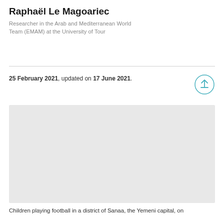Raphaël Le Magoariec
Researcher in the Arab and Mediterranean World Team (EMAM) at the University of Tour
25 February 2021, updated on 17 June 2021.
[Figure (photo): Light grey placeholder rectangle representing an image of children playing football in a district of Sanaa, the Yemeni capital]
Children playing football in a district of Sanaa, the Yemeni capital, on